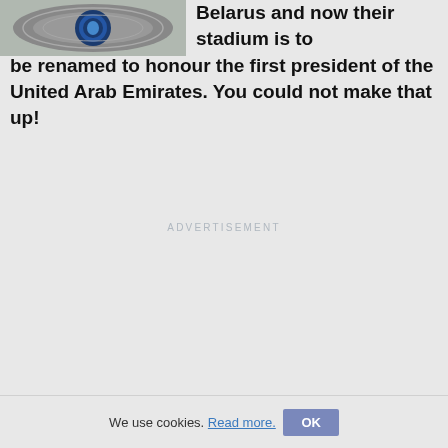[Figure (photo): Aerial/overhead view of a stadium or circular structure, showing a blue logo/emblem in the center of what appears to be a roundabout or stadium exterior. The image is cropped at the top-left of the page.]
Belarus and now their stadium is to be renamed to honour the first president of the United Arab Emirates. You could not make that up!
ADVERTISEMENT
We use cookies. Read more. OK